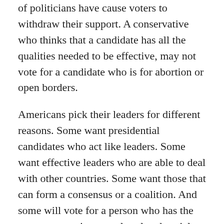of politicians have cause voters to withdraw their support. A conservative who thinks that a candidate has all the qualities needed to be effective, may not vote for a candidate who is for abortion or open borders.
Americans pick their leaders for different reasons. Some want presidential candidates who act like leaders. Some want effective leaders who are able to deal with other countries. Some want those that can form a consensus or a coalition. And some will vote for a person who has the same perspective on cultural and social issues such as the right to life, gun control and the like.
I believe more than a majority of Americans vote for a person because they agree with the candidate's perspectives on only one issue. If you're a union person, you will vote for a pro union candidate regardless of